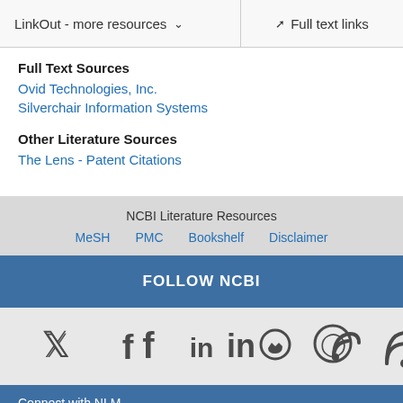LinkOut - more resources ∨   Full text links
Full Text Sources
Ovid Technologies, Inc.
Silverchair Information Systems
Other Literature Sources
The Lens - Patent Citations
NCBI Literature Resources
MeSH   PMC   Bookshelf   Disclaimer
FOLLOW NCBI
[Figure (other): Social media icons: Twitter, Facebook, LinkedIn, GitHub, RSS feed]
Connect with NLM